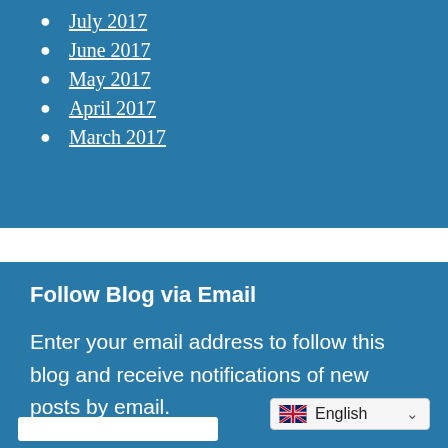July 2017
June 2017
May 2017
April 2017
March 2017
Follow Blog via Email
Enter your email address to follow this blog and receive notifications of new posts by email.